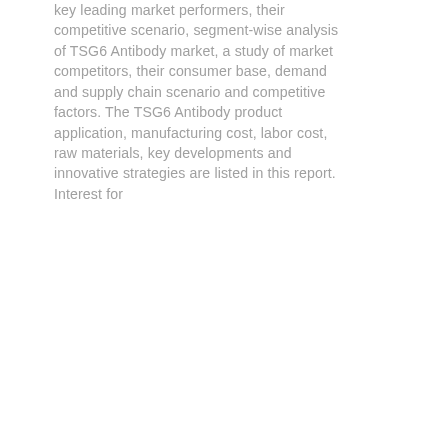key leading market performers, their competitive scenario, segment-wise analysis of TSG6 Antibody market, a study of market competitors, their consumer base, demand and supply chain scenario and competitive factors. The TSG6 Antibody product application, manufacturing cost, labor cost, raw materials, key developments and innovative strategies are listed in this report. Interest for